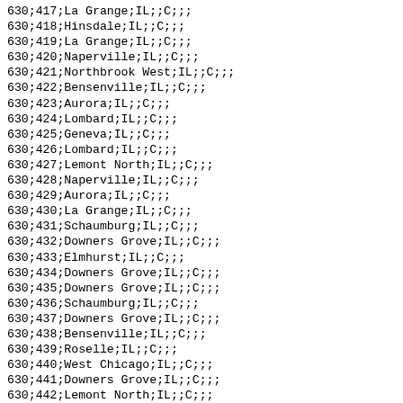630;417;La Grange;IL;;C;;;
630;418;Hinsdale;IL;;C;;;
630;419;La Grange;IL;;C;;;
630;420;Naperville;IL;;C;;;
630;421;Northbrook West;IL;;C;;;
630;422;Bensenville;IL;;C;;;
630;423;Aurora;IL;;C;;;
630;424;Lombard;IL;;C;;;
630;425;Geneva;IL;;C;;;
630;426;Lombard;IL;;C;;;
630;427;Lemont North;IL;;C;;;
630;428;Naperville;IL;;C;;;
630;429;Aurora;IL;;C;;;
630;430;La Grange;IL;;C;;;
630;431;Schaumburg;IL;;C;;;
630;432;Downers Grove;IL;;C;;;
630;433;Elmhurst;IL;;C;;;
630;434;Downers Grove;IL;;C;;;
630;435;Downers Grove;IL;;C;;;
630;436;Schaumburg;IL;;C;;;
630;437;Downers Grove;IL;;C;;;
630;438;Bensenville;IL;;C;;;
630;439;Roselle;IL;;C;;;
630;440;West Chicago;IL;;C;;;
630;441;Downers Grove;IL;;C;;;
630;442;Lemont North;IL;;C;;;
630;443;Geneva;IL;;C;;;
630;444;Geneva;IL;;C;;;
630;445;Naperville;IL;;C;;;
630;446;Glen Ellyn;IL;;C;;;
630;447;Warrenville;IL;;C;;;